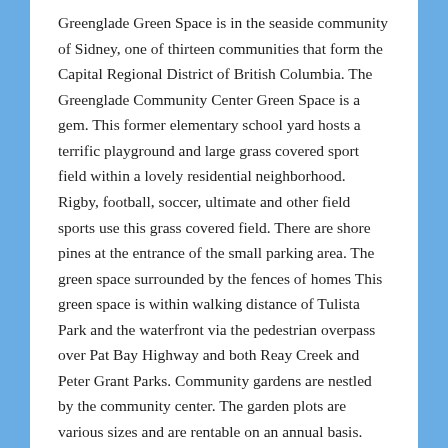Greenglade Green Space is in the seaside community of Sidney, one of thirteen communities that form the Capital Regional District of British Columbia. The Greenglade Community Center Green Space is a gem. This former elementary school yard hosts a terrific playground and large grass covered sport field within a lovely residential neighborhood. Rigby, football, soccer, ultimate and other field sports use this grass covered field. There are shore pines at the entrance of the small parking area. The green space surrounded by the fences of homes This green space is within walking distance of Tulista Park and the waterfront via the pedestrian overpass over Pat Bay Highway and both Reay Creek and Peter Grant Parks. Community gardens are nestled by the community center. The garden plots are various sizes and are rentable on an annual basis.